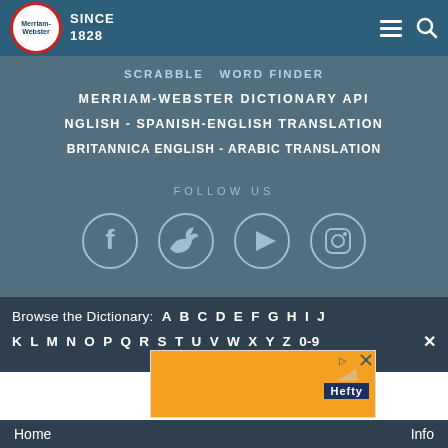Merriam-Webster SINCE 1828
SCRABBLE  WORD FINDER
MERRIAM-WEBSTER DICTIONARY API
NGLISH - SPANISH-ENGLISH TRANSLATION
BRITANNICA ENGLISH - ARABIC TRANSLATION
FOLLOW US
[Figure (infographic): Social media icons: Facebook, Twitter, YouTube, Instagram - circle outlines]
Browse the Dictionary:  A  B  C  D  E  F  G  H  I  J  K  L  M  N  O  P  Q  R  S  T  U  V  W  X  Y  Z  0-9
[Figure (other): Hefty advertisement banner with orange background]
Home   Info